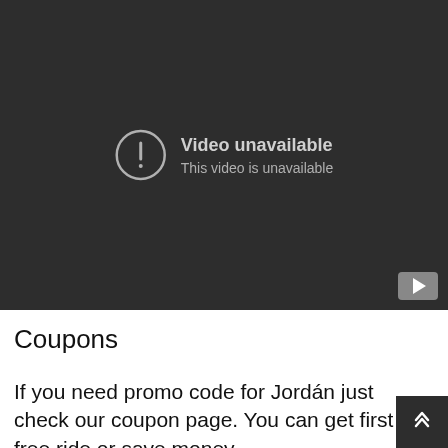[Figure (screenshot): Embedded video player showing a dark/black background with an error message: 'Video unavailable / This video is unavailable'. A circular exclamation icon appears to the left of the text. A YouTube logo button is visible in the bottom-right corner of the player.]
Coupons
If you need promo code for Jordán just check our coupon page. You can get first free ride or save money